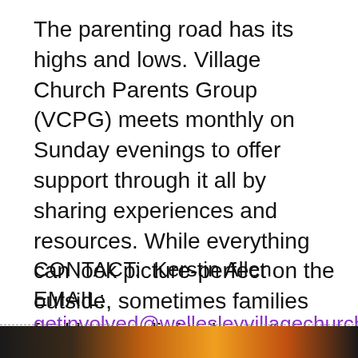The parenting road has its highs and lows. Village Church Parents Group (VCPG) meets monthly on Sunday evenings to offer support through it all by sharing experiences and resources. While everything can look picture-perfect on the outside, sometimes families feel huge relief to know “we went through that too.” The Parents Group meets on Zoom on the last Sunday of the month at 7:30pm.
CONTACT:  Kerstin Allen
EMAIL:
getinvolved@wellesleyvillagechurch.org